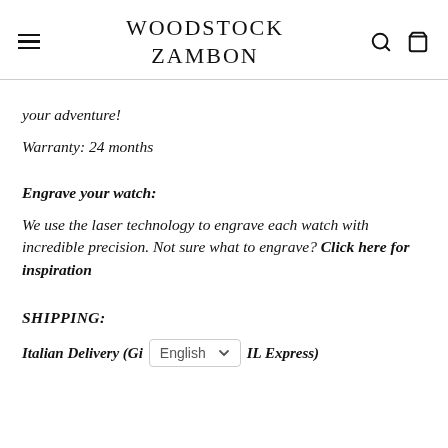WOODSTOCK ZAMBON
your adventure!
Warranty: 24 months
Engrave your watch:
We use the laser technology to engrave each watch with incredible precision. Not sure what to engrave? Click here for inspiration
SHIPPING:
Italian Delivery (GI ... IL Express)